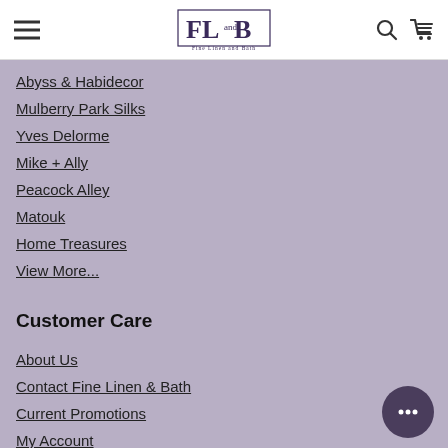FL and B — Fine Linen and Bath
Abyss & Habidecor
Mulberry Park Silks
Yves Delorme
Mike + Ally
Peacock Alley
Matouk
Home Treasures
View More...
Customer Care
About Us
Contact Fine Linen & Bath
Current Promotions
My Account